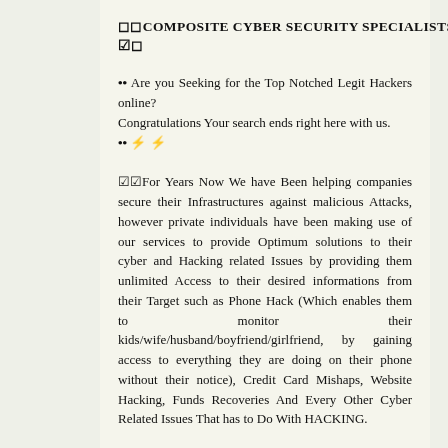☐☐COMPOSITE CYBER SECURITY SPECIALISTS ☑☐
•• Are you Seeking for the Top Notched Legit Hackers online?
Congratulations Your search ends right here with us.
•• ⚡⚡
☑☑For Years Now We have Been helping companies secure their Infrastructures against malicious Attacks, however private individuals have been making use of our services to provide Optimum solutions to their cyber and Hacking related Issues by providing them unlimited Access to their desired informations from their Target such as Phone Hack (Which enables them to monitor their kids/wife/husband/boyfriend/girlfriend, by gaining access to everything they are doing on their phone without their notice), Credit Card Mishaps, Website Hacking, Funds Recoveries And Every Other Cyber Related Issues That has to Do With HACKING.